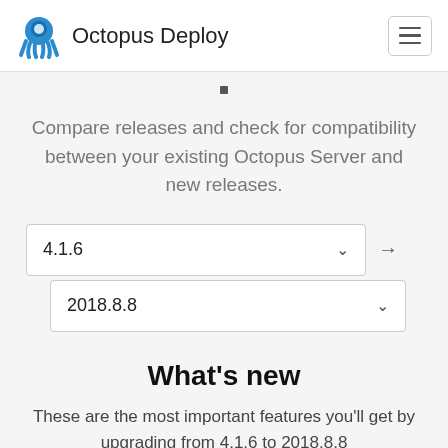Octopus Deploy
Compare releases and check for compatibility between your existing Octopus Server and new releases.
4.1.6
2018.8.8
What's new
These are the most important features you'll get by upgrading from 4.1.6 to 2018.8.8